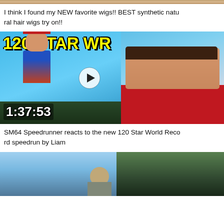[Figure (screenshot): Cropped top portion of a video thumbnail, partially visible]
I think I found my NEW favorite wigs!! BEST synthetic natural hair wigs try on!!
[Figure (screenshot): YouTube video thumbnail showing '120 STAR WR' in yellow text with Mario character and a man in red shirt reacting, timer shows 1:37:53]
SM64 Speedrunner reacts to the new 120 Star World Record speedrun by Liam
[Figure (screenshot): Partially visible video thumbnail showing a person outdoors with trees in background]